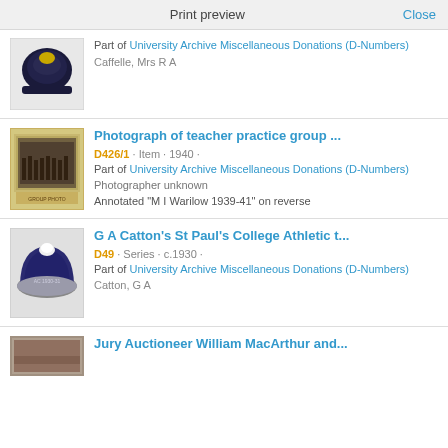Print preview   Close
[Figure (photo): Dark navy hat/cap artifact on white background]
Part of University Archive Miscellaneous Donations (D-Numbers)
Caffelle, Mrs R A
Photograph of teacher practice group ...
D426/1 · Item · 1940 ·
Part of University Archive Miscellaneous Donations (D-Numbers)
Photographer unknown
Annotated "M I Warilow 1939-41" on reverse
G A Catton's St Paul's College Athletic t...
D49 · Series · c.1930 ·
Part of University Archive Miscellaneous Donations (D-Numbers)
Catton, G A
Jury Auctioneer William MacArthur and...